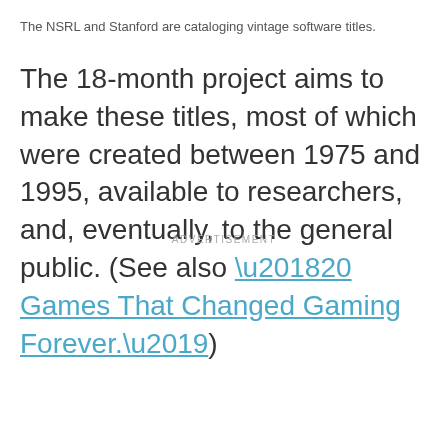The NSRL and Stanford are cataloging vintage software titles.
The 18-month project aims to make these titles, most of which were created between 1975 and 1995, available to researchers, and, eventually, to the general public. (See also ‘20 Games That Changed Gaming Forever.’)
ADVERTISEMENT